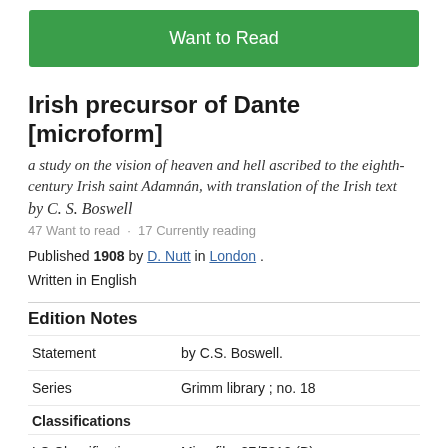[Figure (other): Green 'Want to Read' button]
Irish precursor of Dante [microform]
a study on the vision of heaven and hell ascribed to the eighth-century Irish saint Adamnán, with translation of the Irish text
by C. S. Boswell
47 Want to read · 17 Currently reading
Published 1908 by D. Nutt in London .
Written in English
Edition Notes
|  |  |
| --- | --- |
| Statement | by C.S. Boswell. |
| Series | Grimm library ; no. 18 |
| Classifications |  |
| LC Classifications | Microfilm 87/5312 (B) |